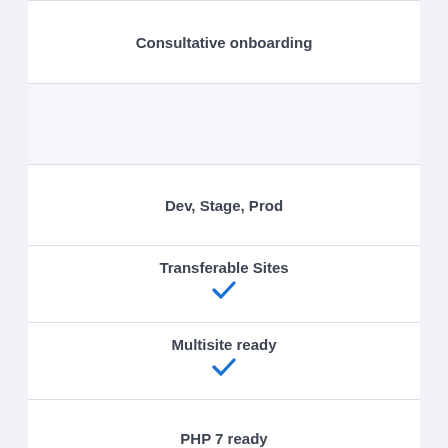Consultative onboarding
Dev, Stage, Prod
Transferable Sites ✔
Multisite ready ✔
PHP 7 ready
LargeFS